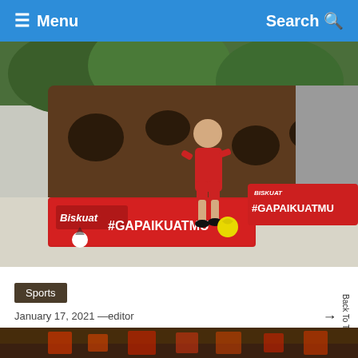≡ Menu    Search 🔍
[Figure (photo): A child in a red football kit kicking a yellow ball on a concrete surface, with red Biskuat #GAPAIKUATMU banners in the background]
Sports
January 17, 2021 —editor
Online football clinic helps Indonesian children improve skills during the pandemic
[Figure (photo): Bottom strip of another photo — partially visible]